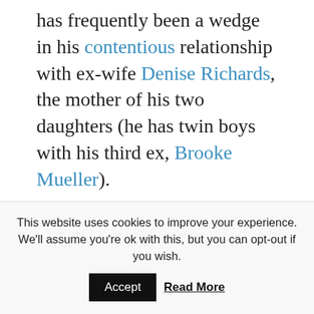has frequently been a wedge in his contentious relationship with ex-wife Denise Richards, the mother of his two daughters (he has twin boys with his third ex, Brooke Mueller).

In recent months, Sheen has seen had many ups and downs, including his 50th birthday,
both blowouts and celebrations with Richards, drug dependency accusations
This website uses cookies to improve your experience. We'll assume you're ok with this, but you can opt-out if you wish.